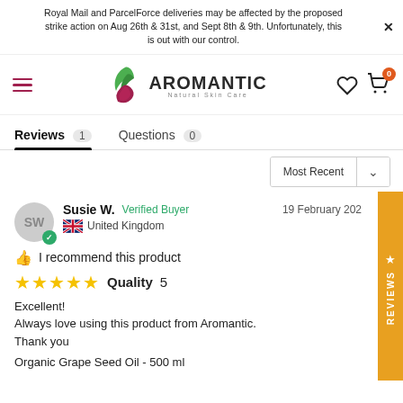Royal Mail and ParcelForce deliveries may be affected by the proposed strike action on Aug 26th & 31st, and Sept 8th & 9th. Unfortunately, this is out with our control.
[Figure (logo): Aromantic Natural Skin Care logo with green leaf and maroon swirl]
Reviews 1   Questions 0
Most Recent
Susie W.   Verified Buyer   19 February 202
United Kingdom
I recommend this product
★★★★★  Quality 5
Excellent!
Always love using this product from Aromantic.
Thank you
Organic Grape Seed Oil - 500 ml